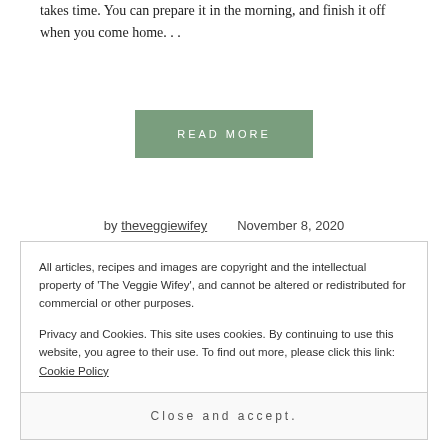takes time. You can prepare it in the morning, and finish it off when you come home. . .
READ MORE
by theveggiewifey   November 8, 2020
All articles, recipes and images are copyright and the intellectual property of 'The Veggie Wifey', and cannot be altered or redistributed for commercial or other purposes.
Privacy and Cookies. This site uses cookies. By continuing to use this website, you agree to their use. To find out more, please click this link: Cookie Policy
Close and accept.